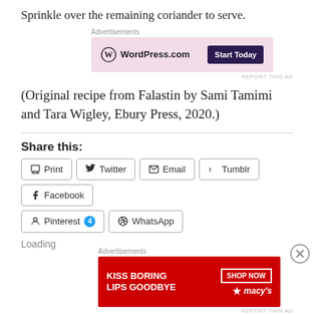Sprinkle over the remaining coriander to serve.
[Figure (other): WordPress.com advertisement banner with pink background and 'Start Today' button]
(Original recipe from Falastin by Sami Tamimi and Tara Wigley, Ebury Press, 2020.)
Share this:
Print  Twitter  Email  Tumblr  Facebook  Pinterest 4  WhatsApp
Loading
[Figure (other): Macy's advertisement banner with red background, 'KISS BORING LIPS GOODBYE' text and 'SHOP NOW' button]